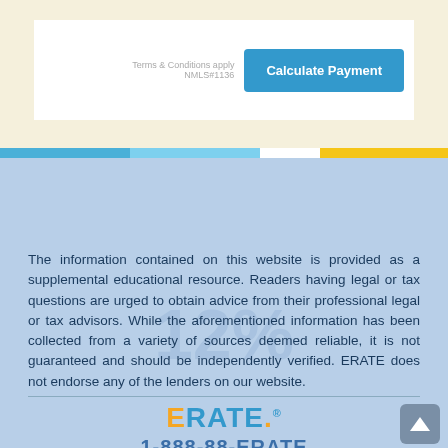Terms & Conditions apply NMLS#1136
Calculate Payment
The information contained on this website is provided as a supplemental educational resource. Readers having legal or tax questions are urged to obtain advice from their professional legal or tax advisors. While the aforementioned information has been collected from a variety of sources deemed reliable, it is not guaranteed and should be independently verified. ERATE does not endorse any of the lenders on our website.
[Figure (logo): ERATE logo with orange E and blue RATE text, registered trademark symbol, and orange period]
1-888-88-ERATE
[Figure (infographic): Social media icons: Facebook (blue f), Twitter (blue bird), LinkedIn (blue in)]